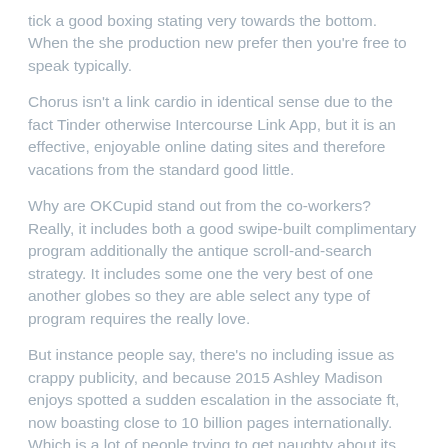tick a good boxing stating very towards the bottom. When the she production new prefer then you're free to speak typically.
Chorus isn't a link cardio in identical sense due to the fact Tinder otherwise Intercourse Link App, but it is an effective, enjoyable online dating sites and therefore vacations from the standard good little.
Why are OKCupid stand out from the co-workers? Really, it includes both a good swipe-built complimentary program additionally the antique scroll-and-search strategy. It includes some one the very best of one another globes so they are able select any type of program requires the really love.
But instance people say, there's no including issue as crappy publicity, and because 2015 Ashley Madison enjoys spotted a sudden escalation in the associate ft, now boasting close to 10 billion pages internationally. Which is a lot of people trying to get naughty about its partners' backs.
Your chances of looking a-one night get up on Feeld? Providing you place the work into familiarize yourself with particular individuals,